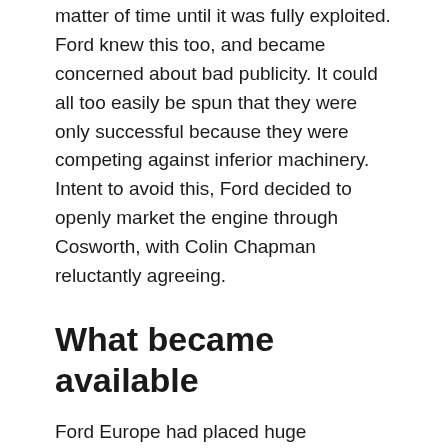matter of time until it was fully exploited. Ford knew this too, and became concerned about bad publicity. It could all too easily be spun that they were only successful because they were competing against inferior machinery. Intent to avoid this, Ford decided to openly market the engine through Cosworth, with Colin Chapman reluctantly agreeing.
What became available
Ford Europe had placed huge investment into the DFV's development. They made a conscious decision not to rush it into service for the first year of the 3L formula. Instead, Cosworth were given the time they needed to properly develop the engine before their assault on the '67 season. This went as far as developing the FVA, an Inline-4 variant and essentially a single bank of the F1